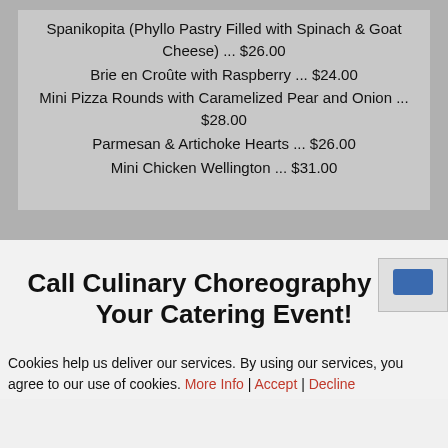Spanikopita (Phyllo Pastry Filled with Spinach & Goat Cheese) ... $26.00
Brie en Croûte with Raspberry ... $24.00
Mini Pizza Rounds with Caramelized Pear and Onion ... $28.00
Parmesan & Artichoke Hearts ... $26.00
Mini Chicken Wellington ... $31.00
Call Culinary Choreography For Your Catering Event!
Cookies help us deliver our services. By using our services, you agree to our use of cookies. More Info | Accept | Decline